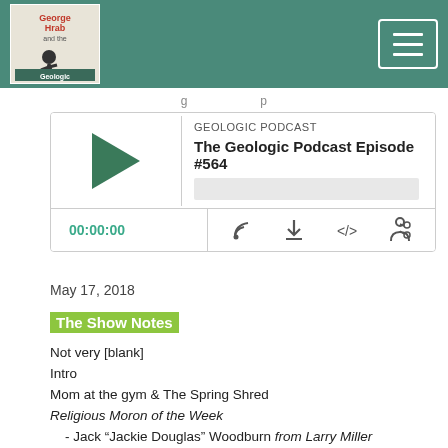George Hrab and the Geologic Podcast
[Figure (screenshot): Podcast audio player for The Geologic Podcast Episode #564 showing play button, progress bar, timestamp 00:00:00, and controls for subscribe, download, embed, and share]
May 17, 2018
The Show Notes
Not very [blank]
Intro
Mom at the gym & The Spring Shred
Religious Moron of the Week
- Jack “Jackie Douglas” Woodburn from Larry Miller
Fake car crashes follow-up
Congratulations Skeptic Zone!
Ask George
- Suits? from Ernest in Denver